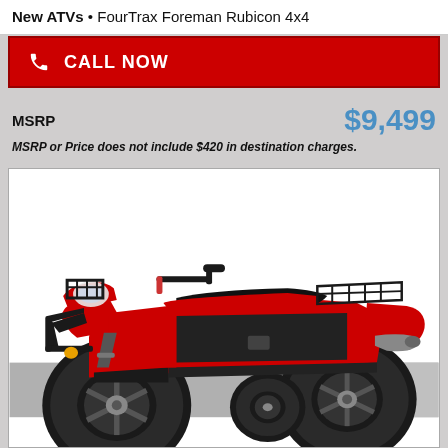New ATVs • FourTrax Foreman Rubicon 4x4
CALL NOW
MSRP    $9,499
MSRP or Price does not include $420 in destination charges.
[Figure (photo): Red Honda FourTrax Foreman Rubicon 4x4 ATV on white background, viewed from front-left angle. ATV features large mud-terrain tires, front and rear cargo racks, skid plates, and red/black color scheme.]